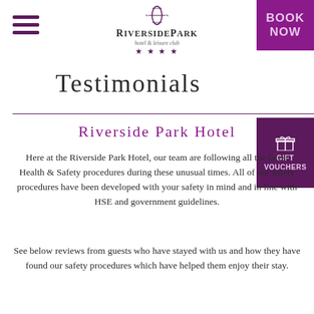Riverside Park hotel & leisure club ★★★★
Testimonials
Riverside Park Hotel
Here at the Riverside Park Hotel, our team are following all the latest Health & Safety procedures during these unusual times. All of our safety procedures have been developed with your safety in mind and in line with HSE and government guidelines.
See below reviews from guests who have stayed with us and how they have found our safety procedures which have helped them enjoy their stay.